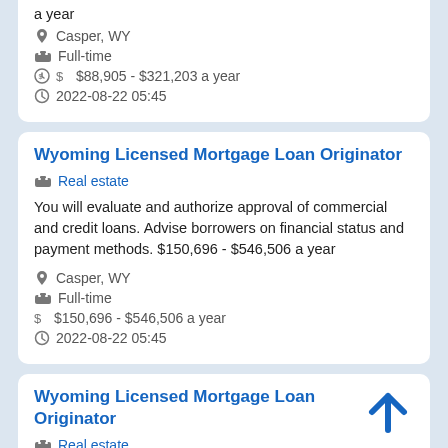a year
📍 Casper, WY
💼 Full-time
$ $88,905 - $321,203 a year
🕐 2022-08-22 05:45
Wyoming Licensed Mortgage Loan Originator
Real estate
You will evaluate and authorize approval of commercial and credit loans. Advise borrowers on financial status and payment methods. $150,696 - $546,506 a year
Casper, WY
Full-time
$150,696 - $546,506 a year
2022-08-22 05:45
Wyoming Licensed Mortgage Loan Originator
Real estate
You will evaluate and authorize approval of commercial and